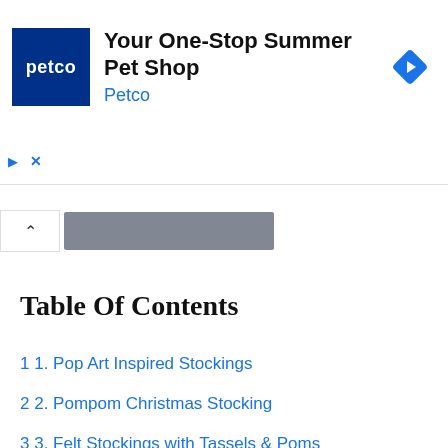[Figure (screenshot): Petco advertisement banner: 'Your One-Stop Summer Pet Shop' with Petco logo and navigation icon]
[Figure (screenshot): Collapsed comment bar with caret and blurred/redacted text]
Table Of Contents
1 1. Pop Art Inspired Stockings
2 2. Pompom Christmas Stocking
3 3. Felt Stockings with Tassels & Poms
4 4. Woodland Stockings
5 5. Batik Indigo Stockings
6 6. Christmas Stocking Garland